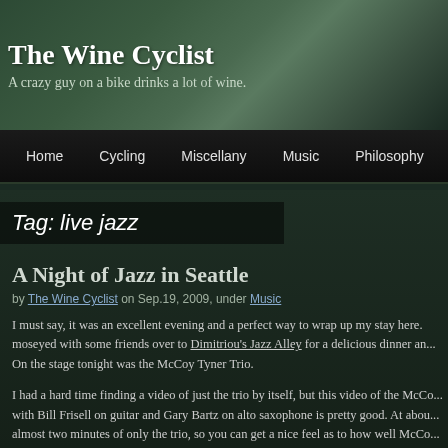The Wine Cyclist
A crazy guy on a bike drinks a lot of wine.
Home  Cycling  Miscellany  Music  Philosophy  Wine
Tag: live jazz
A Night of Jazz in Seattle
by The Wine Cyclist on Sep.19, 2009, under Music
I must say, it was an excellent evening and a perfect way to wrap up my stay here. moseyed with some friends over to Dimitriou's Jazz Alley for a delicious dinner an... On the stage tonight was the McCoy Tyner Trio.
I had a hard time finding a video of just the trio by itself, but this video of the McCo... with Bill Frisell on guitar and Gary Bartz on alto saxophone is pretty good. At abou... almost two minutes of only the trio, so you can get a nice feel as to how well McCo... Gerald Cannon on bass and Eric Kamau Gravatt on drums without anything else g... mean to dismiss the excellent performances of Bill Frisell and Gary Bartz in this pi...